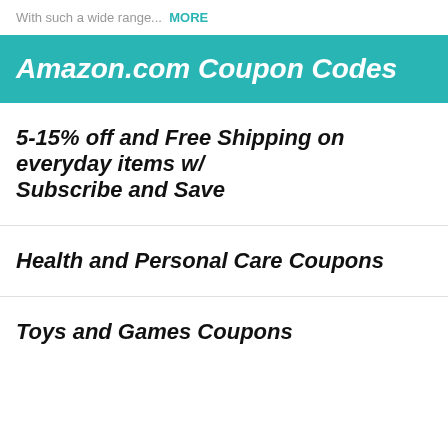With such a wide range...  MORE
Amazon.com Coupon Codes
5-15% off and Free Shipping on everyday items w/ Subscribe and Save
Health and Personal Care Coupons
Toys and Games Coupons